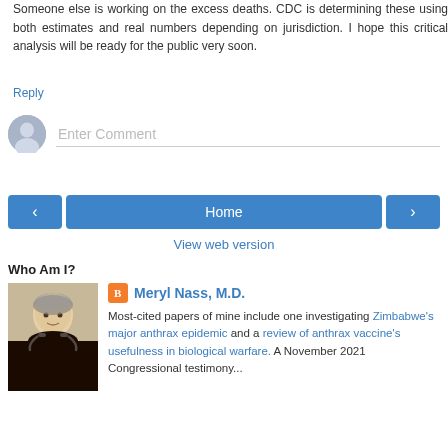Someone else is working on the excess deaths. CDC is determining these using both estimates and real numbers depending on jurisdiction. I hope this critical analysis will be ready for the public very soon.
Reply
Enter Comment
Home
View web version
Who Am I?
Meryl Nass, M.D.
Most-cited papers of mine include one investigating Zimbabwe's major anthrax epidemic and a review of anthrax vaccine's usefulness in biological warfare. A November 2021 Congressional testimony...